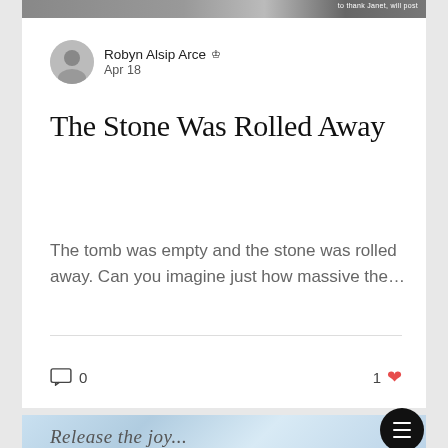[Figure (photo): Partial top image strip showing outdoor/rock scene with overlaid white text]
Robyn Alsip Arce 👑 Apr 18
The Stone Was Rolled Away
The tomb was empty and the stone was rolled away. Can you imagine just how massive the…
0 comments · 1 like
[Figure (photo): Partial blue sky/clouds background with cursive text 'Release the joy...']